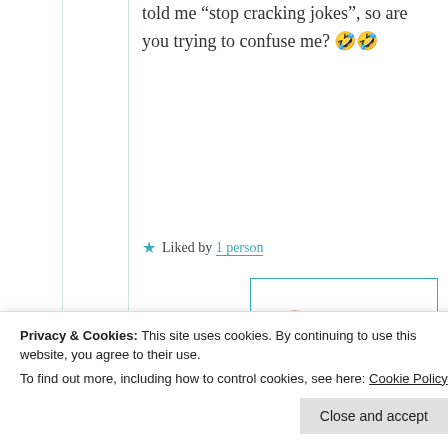told me “stop cracking jokes”, so are you trying to confuse me? 🤣🤣
★ Liked by 1 person
Suma Reddy
18th May 2021 at 10:27 pm
Privacy & Cookies: This site uses cookies. By continuing to use this website, you agree to their use.
To find out more, including how to control cookies, see here: Cookie Policy
Close and accept
convincing n confusing